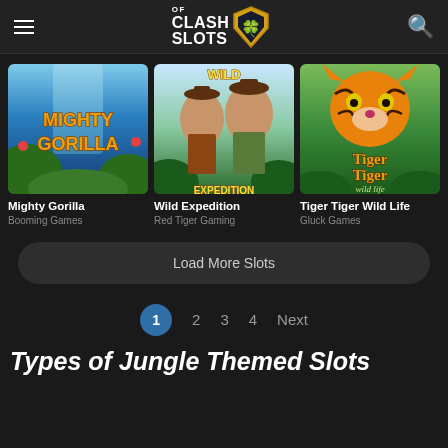Clash of Slots
[Figure (screenshot): Mighty Gorilla slot game thumbnail - jungle waterfall background with gorilla themed game title in red/gold letters]
Mighty Gorilla
Booming Games
[Figure (screenshot): Wild Expedition slot game thumbnail - adventure explorers man and woman with jungle background]
Wild Expedition
Red Tiger Gaming
[Figure (screenshot): Tiger Tiger Wild Life slot game thumbnail - tiger face with golden text on green jungle background]
Tiger Tiger Wild Life
Gluck Games
Load More Slots
1  2  3  4  Next
Types of Jungle Themed Slots